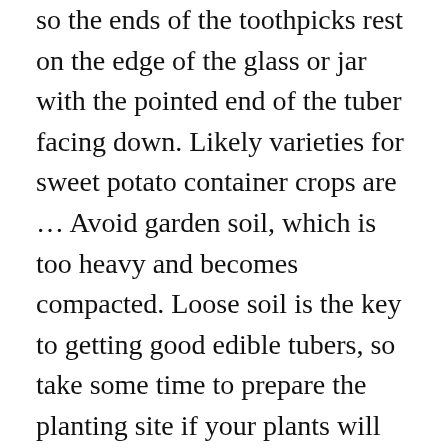so the ends of the toothpicks rest on the edge of the glass or jar with the pointed end of the tuber facing down. Likely varieties for sweet potato container crops are ... Avoid garden soil, which is too heavy and becomes compacted. Loose soil is the key to getting good edible tubers, so take some time to prepare the planting site if your plants will be growing in the ground. Tip: If your tap water is heavy with chlorine and other additives, it may prevent the tuber from sprouting. Sweet potatoes are typically grown from slips, which are sprouts that are grown from stored sweet potatoes. I've had a lot of success with growing sweet potatoes in a ... Sweet potato plants love the hot weather, but will grow more potatoes if